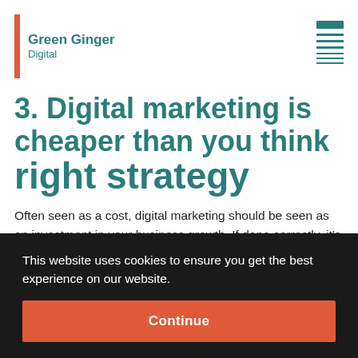Green Ginger Digital
3. Digital marketing is cheaper than you think
Often seen as a cost, digital marketing should be seen as an investment in your business growth. If done correctly, it's often cheaper than many people think. SEO is free (although does need the correct expertise to manage it)
[Figure (screenshot): Cookie consent banner overlay with text: 'This website uses cookies to ensure you get the best experience on our website.' and a Continue button]
right strategy